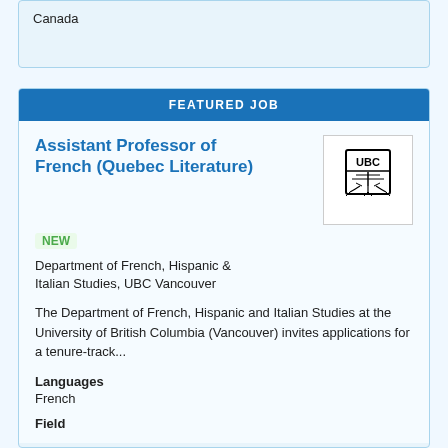Canada
FEATURED JOB
Assistant Professor of French (Quebec Literature)
NEW
Department of French, Hispanic & Italian Studies, UBC Vancouver
The Department of French, Hispanic and Italian Studies at the University of British Columbia (Vancouver) invites applications for a tenure-track...
Languages
French
Field